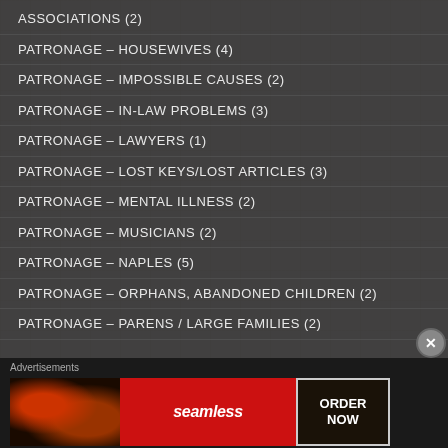ASSOCIATIONS (2)
PATRONAGE – HOUSEWIVES (4)
PATRONAGE – IMPOSSIBLE CAUSES (2)
PATRONAGE – IN-LAW PROBLEMS (3)
PATRONAGE – LAWYERS (1)
PATRONAGE – LOST KEYS/LOST ARTICLES (3)
PATRONAGE – MENTAL ILLNESS (2)
PATRONAGE – MUSICIANS (2)
PATRONAGE – NAPLES (5)
PATRONAGE – ORPHANS, ABANDONED CHILDREN (2)
PATRONAGE – PARENS / LARGE FAMILIES (2)
[Figure (illustration): Seamless food delivery advertisement banner showing pizza on dark background, Seamless logo in red, and ORDER NOW button]
Advertisements